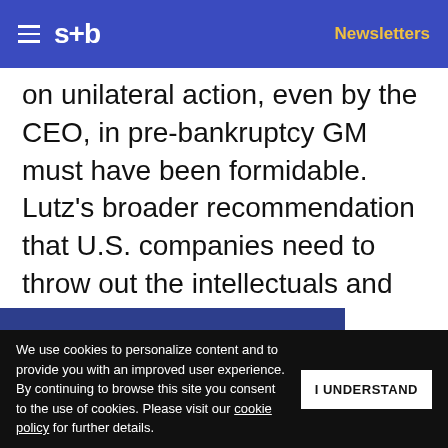s+b | Newsletters
on unilateral action, even by the CEO, in pre-bankruptcy GM must have been formidable. Lutz's broader recommendation that U.S. companies need to throw out the intellectuals and get back to business will probably not be heeded, but his pragmatic warning that schemes that appear sound in theory often fail ... of the findings ... microeconomics, and managers will
Get s+b's award-winning newsletter delivered to your inbox.
We use cookies to personalize content and to provide you with an improved user experience. By continuing to browse this site you consent to the use of cookies. Please visit our cookie policy for further details.